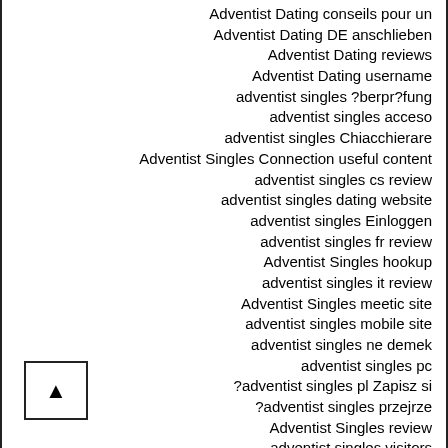Adventist Dating conseils pour un
Adventist Dating DE anschlieben
Adventist Dating reviews
Adventist Dating username
adventist singles ?berpr?fung
adventist singles acceso
adventist singles Chiacchierare
Adventist Singles Connection useful content
adventist singles cs review
adventist singles dating website
adventist singles Einloggen
adventist singles fr review
Adventist Singles hookup
adventist singles it review
Adventist Singles meetic site
adventist singles mobile site
adventist singles ne demek
adventist singles pc
?adventist singles pl Zapisz si
?adventist singles przejrze
Adventist Singles review
adventist singles visitors
adventist singles_NL review
adventist-dating-de reviews
adventist-dating-de visitors
adventist-singles-inceleme arama
adventist singles Recensione T?l...